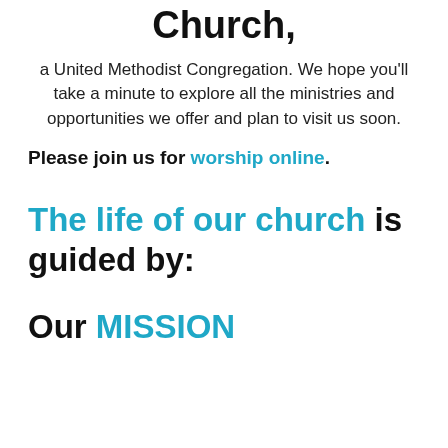Church,
a United Methodist Congregation. We hope you'll take a minute to explore all the ministries and opportunities we offer and plan to visit us soon.
Please join us for worship online.
The life of our church is guided by:
Our MISSION